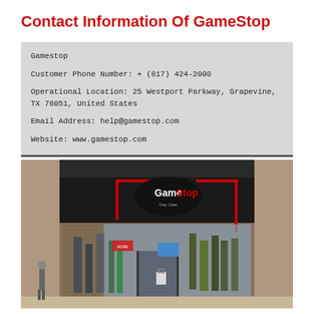Contact Information Of GameStop
Gamestop
Customer Phone Number: + (817) 424-2000
Operational Location: 25 Westport Parkway, Grapevine, TX 76051, United States
Email Address: help@gamestop.com
Website: www.gamestop.com
[Figure (photo): Exterior photo of a GameStop store in a mall, showing the black storefront with red neon lighting and the GameStop logo with 'Day Care' subtitle. Store windows display game merchandise and promotional materials.]